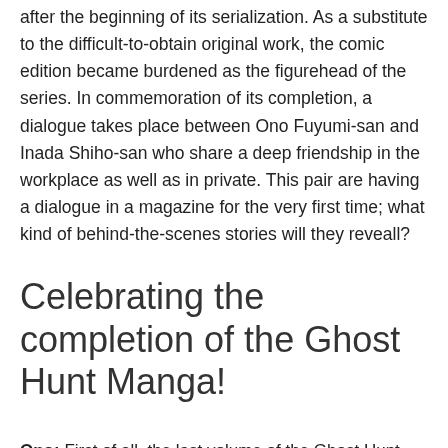after the beginning of its serialization. As a substitute to the difficult-to-obtain original work, the comic edition became burdened as the figurehead of the series. In commemoration of its completion, a dialogue takes place between Ono Fuyumi-san and Inada Shiho-san who share a deep friendship in the workplace as well as in private. This pair are having a dialogue in a magazine for the very first time; what kind of behind-the-scenes stories will they reveall?
Celebrating the completion of the Ghost Hunt Manga!
Ono: First of all, the last volume of the Ghost Hunt comic is on sale. Congratulations.
Inada: Thank you very much. I feel relieved that I could finish it without problems.